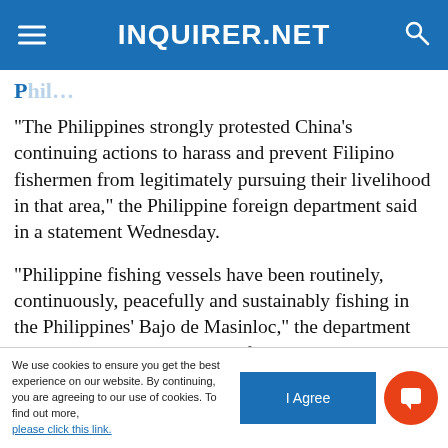INQUIRER.NET
[partial title — cut off at top]
“The Philippines strongly protested China’s continuing actions to harass and prevent Filipino fishermen from legitimately pursuing their livelihood in that area,” the Philippine foreign department said in a statement Wednesday.
“Philippine fishing vessels have been routinely, continuously, peacefully and sustainably fishing in the Philippines’ Bajo de Masinloc,” the department said, using the Filipino name for
We use cookies to ensure you get the best experience on our website. By continuing, you are agreeing to our use of cookies. To find out more, please click this link.